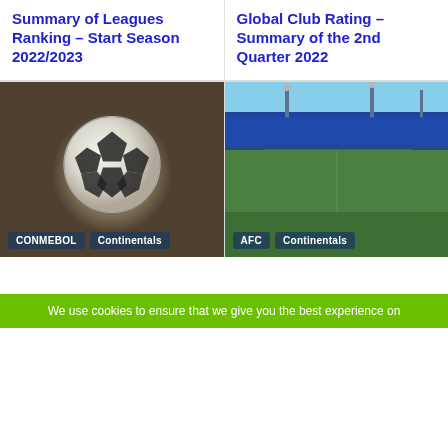Summary of Leagues Ranking – Start Season 2022/2023
Global Club Rating – Summary of the 2nd Quarter 2022
[Figure (photo): Close-up photo of a classic black and white soccer ball resting on grass/dirt ground, with tags CONMEBOL and Continentals]
[Figure (photo): Photo of a soccer stadium pitch close-up with blue stadium seating visible in background, with tags AFC and Continentals]
We use cookies to ensure that we give you the best experience on